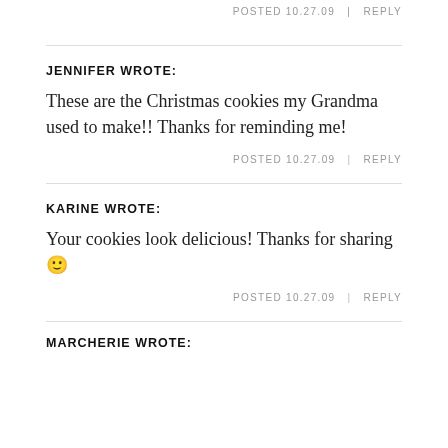POSTED 10.27.09   |   REPLY
JENNIFER WROTE:
These are the Christmas cookies my Grandma used to make!! Thanks for reminding me!
POSTED 10.27.09   |   REPLY
KARINE WROTE:
Your cookies look delicious! Thanks for sharing 🙂
POSTED 10.27.09   |   REPLY
MARCHERIE WROTE: